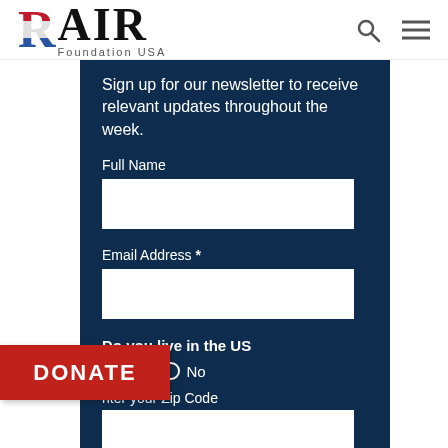[Figure (logo): RAIR Foundation USA logo with stylized R in red-white-blue flag colors]
Sign up for our newsletter to receive relevant updates throughout the week.
Full Name
Email Address *
Do you live in the US
Yes   No
nter your Zip Code
DONATE